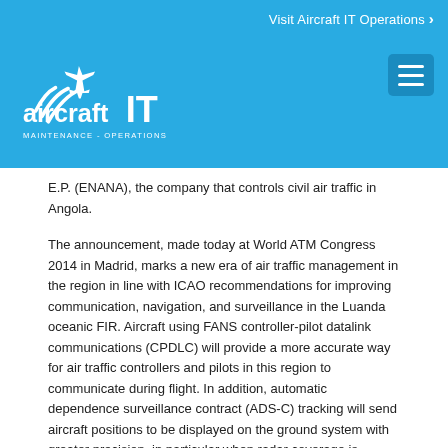Visit Aircraft IT Operations ›
[Figure (logo): Aircraft IT Maintenance - Operations logo on blue background with airplane icon and wifi signal graphic]
E.P. (ENANA), the company that controls civil air traffic in Angola.
The announcement, made today at World ATM Congress 2014 in Madrid, marks a new era of air traffic management in the region in line with ICAO recommendations for improving communication, navigation, and surveillance in the Luanda oceanic FIR. Aircraft using FANS controller-pilot datalink communications (CPDLC) will provide a more accurate way for air traffic controllers and pilots in this region to communicate during flight. In addition, automatic dependence surveillance contract (ADS-C) tracking will send aircraft positions to be displayed on the ground system with greater precision, in particular when radar coverage is unavailable. Both pilots and controllers will benefit from a reduced